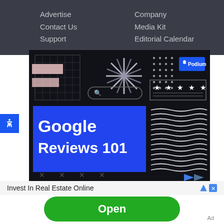Advertise
Contact Us
Support
Company
Media Kit
Editorial Calendar
[Figure (screenshot): Dark-themed advertisement for Podium showing 'Google Reviews 101' in white bold text on a blue background, with decorative elements including a grid, starburst, dot pattern, Podium logo badge, star rating box, and wave pattern.]
Invest In Real Estate Online
Open
Ad